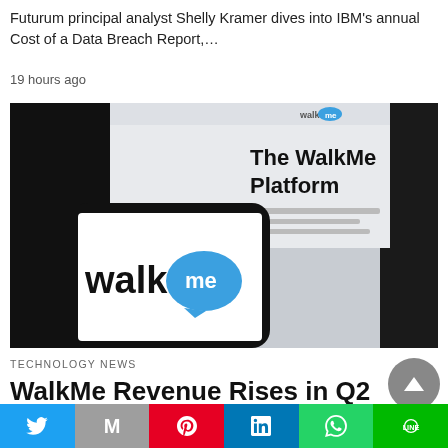Futurum principal analyst Shelly Kramer dives into IBM's annual Cost of a Data Breach Report,…
19 hours ago
[Figure (photo): WalkMe logo on a smartphone screen with The WalkMe Platform website in the background]
TECHNOLOGY NEWS
WalkMe Revenue Rises in Q2 to $59.9M, Up 28% From Q2 2021
Social sharing bar: Twitter, Mail, Pinterest, LinkedIn, WhatsApp, Line